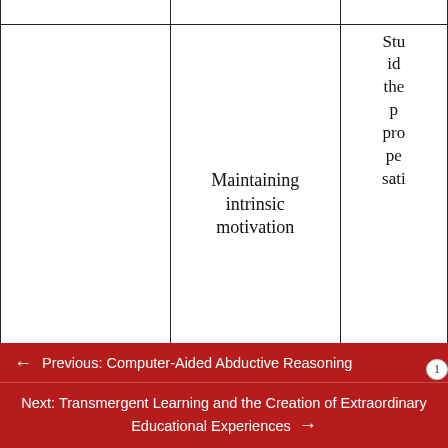|  |  |  |
| --- | --- | --- |
|  | Maintaining intrinsic motivation | Stu id the p pro pe sati |
|  | Recognizing relevance | Stu iden per beli valu rela the |
|  |  | Stu |
← Previous: Computer-Aided Abductive Reasoning
Next: Transmergent Learning and the Creation of Extraordinary Educational Experiences →